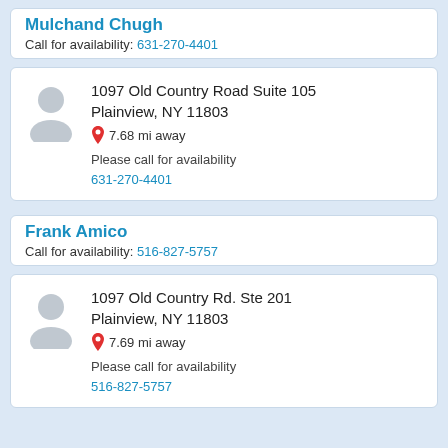Mulchand Chugh
Call for availability: 631-270-4401
[Figure (illustration): Gray placeholder avatar icon for provider]
1097 Old Country Road Suite 105
Plainview, NY 11803
7.68 mi away
Please call for availability
631-270-4401
Frank Amico
Call for availability: 516-827-5757
[Figure (illustration): Gray placeholder avatar icon for provider]
1097 Old Country Rd. Ste 201
Plainview, NY 11803
7.69 mi away
Please call for availability
516-827-5757